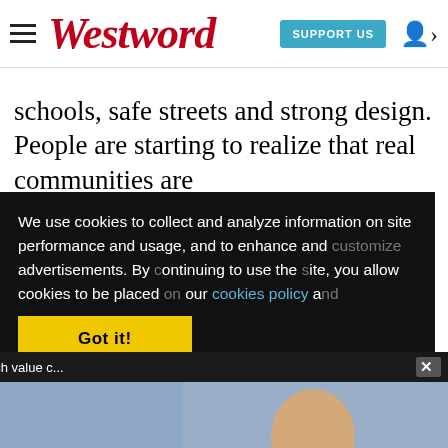Westword — SUPPORT US
schools, safe streets and strong design. People are starting to realize that real communities are [more] than [Aurora.]"
We use cookies to collect and analyze information on site performance and usage, and to enhance and [customize] advertisements. By [continuing] to use the [site, you allow] cookies to be placed [on your device. Read] our cookies policy a[nd learn more.]
[Figure (screenshot): Sponsored Content video popup: 'Sponsored Content - How much value c...' with SWEAT DraftKings branded video player showing a presenter, mute button, and bottom bar reading MLB PRICE CHECK / BEST DFS PLAYS IN EACH PRICE RANGE FOR TONIGHT'S SLATE]
Got it!
e after
advantages of density and do it where it's